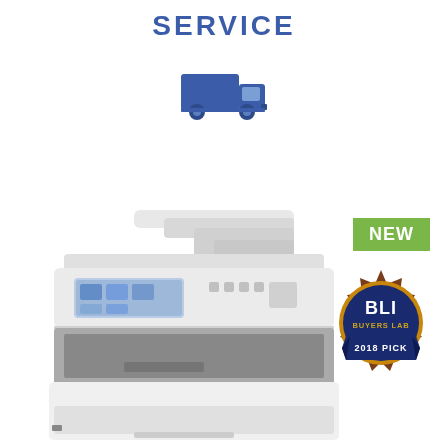SERVICE
[Figure (illustration): Blue delivery truck icon]
[Figure (photo): Brother multifunction laser printer with ADF, touchscreen display, paper trays. BLI Buyers Lab 2018 Pick badge and NEW badge overlay.]